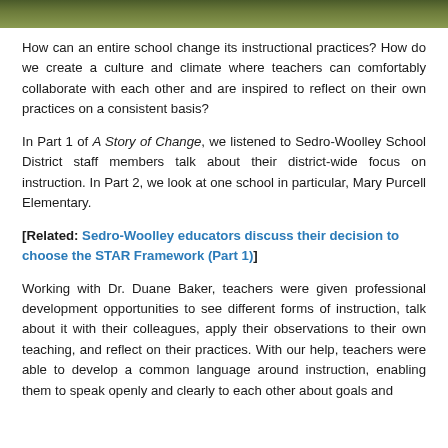[Figure (photo): A banner/header photo showing a green outdoor scene, likely trees or vegetation, serving as decorative header image.]
How can an entire school change its instructional practices? How do we create a culture and climate where teachers can comfortably collaborate with each other and are inspired to reflect on their own practices on a consistent basis?
In Part 1 of A Story of Change, we listened to Sedro-Woolley School District staff members talk about their district-wide focus on instruction. In Part 2, we look at one school in particular, Mary Purcell Elementary.
[Related: Sedro-Woolley educators discuss their decision to choose the STAR Framework (Part 1)]
Working with Dr. Duane Baker, teachers were given professional development opportunities to see different forms of instruction, talk about it with their colleagues, apply their observations to their own teaching, and reflect on their practices. With our help, teachers were able to develop a common language around instruction, enabling them to speak openly and clearly to each other about goals and